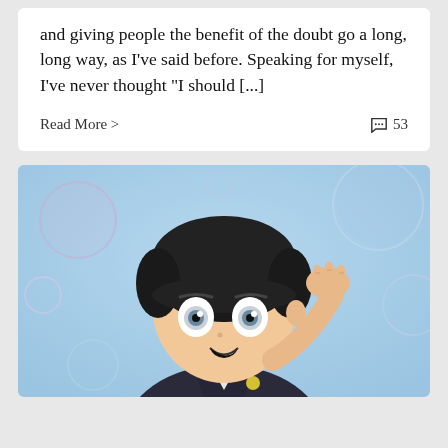and giving people the benefit of the doubt go a long, long way, as I've said before. Speaking for myself, I've never thought "I should [...]
Read More >  💬 53
[Figure (illustration): Anime character with black hair scratching head, smiling slightly, wearing dark jacket, with colorful bubbles in the background. The character appears to be from Mob Psycho 100.]